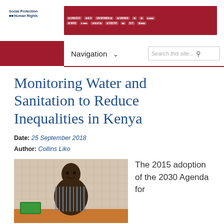Social Protection & Human Rights | UN logos header bar
Navigation | Search this site...
Monitoring Water and Sanitation to Reduce Inequalities in Kenya
Date: 25 September 2018
Author: Collins Liko
[Figure (photo): Portrait photo of Collins Liko, a man in a striped shirt standing in front of a wall with a grid pattern]
The 2015 adoption of the 2030 Agenda for